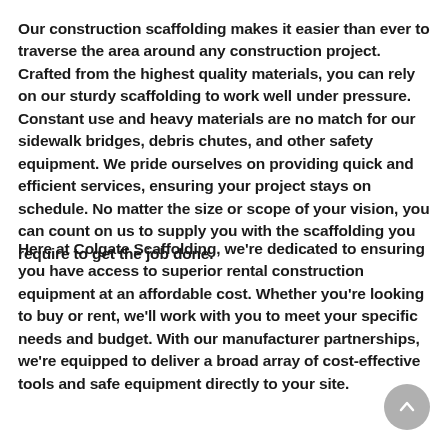Our construction scaffolding makes it easier than ever to traverse the area around any construction project. Crafted from the highest quality materials, you can rely on our sturdy scaffolding to work well under pressure. Constant use and heavy materials are no match for our sidewalk bridges, debris chutes, and other safety equipment. We pride ourselves on providing quick and efficient services, ensuring your project stays on schedule. No matter the size or scope of your vision, you can count on us to supply you with the scaffolding you require to get the job done.
Here at Colgate Scaffolding, we're dedicated to ensuring you have access to superior rental construction equipment at an affordable cost. Whether you're looking to buy or rent, we'll work with you to meet your specific needs and budget. With our manufacturer partnerships, we're equipped to deliver a broad array of cost-effective tools and safe equipment directly to your site.